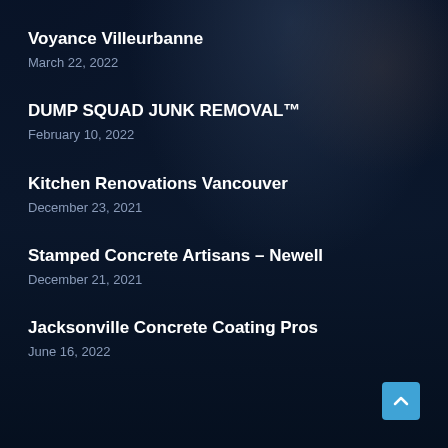Voyance Villeurbanne
March 22, 2022
DUMP SQUAD JUNK REMOVAL™
February 10, 2022
Kitchen Renovations Vancouver
December 23, 2021
Stamped Concrete Artisans – Newell
December 21, 2021
Jacksonville Concrete Coating Pros
June 16, 2022
[Figure (illustration): Scroll-to-top button, light blue square with upward chevron arrow icon, positioned bottom-right]